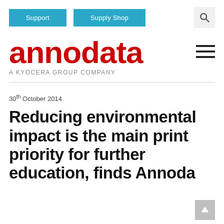Support | Supply Shop | Search
[Figure (logo): annodata logo - red bold lowercase text with tagline 'A KYOCERA GROUP COMPANY']
30th October 2014
Reducing environmental impact is the main print priority for further education, finds Annodata